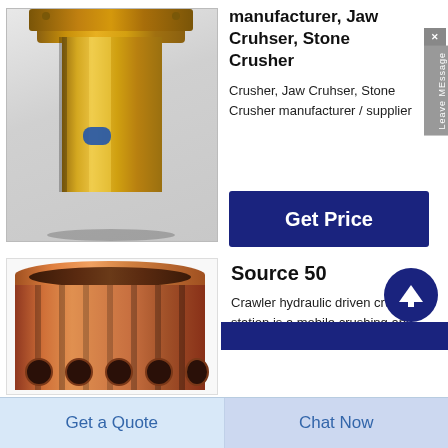[Figure (photo): Gold/bronze cylindrical bushing or sleeve component photographed against light grey background]
manufacturer, Jaw Cruhser, Stone Crusher
Crusher, Jaw Cruhser, Stone Crusher manufacturer / supplier
[Figure (other): Get Price button — dark navy blue rectangle with white bold text]
[Figure (other): Scroll-up arrow button — dark navy blue circle with upward arrow]
Source 50
[Figure (photo): Copper/bronze cylindrical liner component with vertical ribbing and circular holes along the bottom, photographed against white background]
Crawler hydraulic driven crushing station is a mobile crushing and screening...
[Figure (other): Partial dark navy blue Get Price button visible at bottom right]
Get a Quote
Chat Now